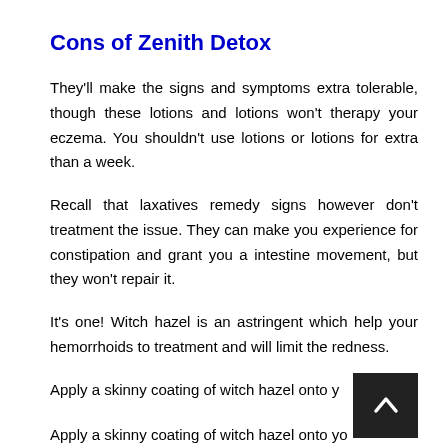Cons of Zenith Detox
They'll make the signs and symptoms extra tolerable, though these lotions and lotions won't therapy your eczema. You shouldn't use lotions or lotions for extra than a week.
Recall that laxatives remedy signs however don't treatment the issue. They can make you experience for constipation and grant you a intestine movement, but they won't repair it.
It's one! Witch hazel is an astringent which help your hemorrhoids to treatment and will limit the redness.
Apply a skinny coating of witch hazel onto your pores and skin to enhance your condition. You are in